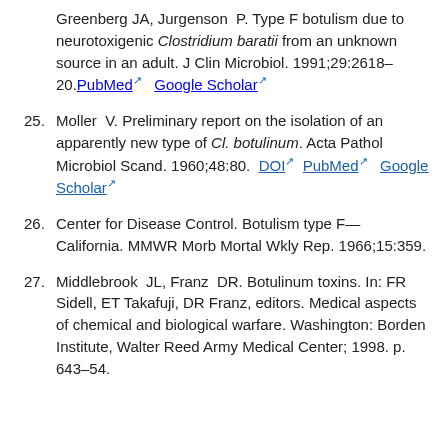Greenberg JA, Jurgenson P. Type F botulism due to neurotoxigenic Clostridium baratii from an unknown source in an adult. J Clin Microbiol. 1991;29:2618–20. PubMed  Google Scholar
25. Moller V. Preliminary report on the isolation of an apparently new type of Cl. botulinum. Acta Pathol Microbiol Scand. 1960;48:80. DOI  PubMed  Google Scholar
26. Center for Disease Control. Botulism type F—California. MMWR Morb Mortal Wkly Rep. 1966;15:359.
27. Middlebrook JL, Franz DR. Botulinum toxins. In: FR Sidell, ET Takafuji, DR Franz, editors. Medical aspects of chemical and biological warfare. Washington: Borden Institute, Walter Reed Army Medical Center; 1998. p. 643–54.